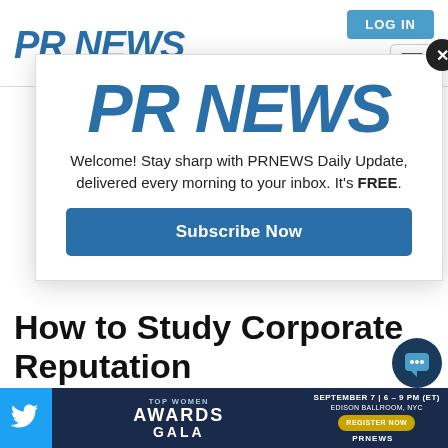PR NEWS
[Figure (screenshot): PR NEWS logo in large italic bold blue font]
[Figure (infographic): Modal popup with PR NEWS logo, subscription message, and Subscribe Now button]
Welcome! Stay sharp with PRNEWS Daily Update, delivered every morning to your inbox. It's FREE.
How to Study Corporate Reputation
[Figure (infographic): Advertisement banner: Top Women Awards Gala, September 7 | 6-9 PM (ET), Edison Ballroom, NYC, Register Now, PRNEWS]